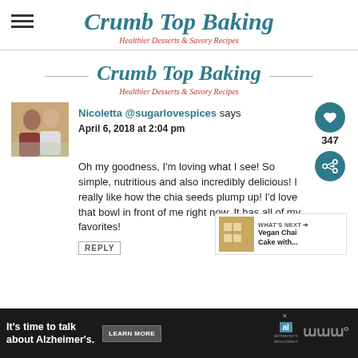Crumb Top Baking — Healthier Desserts & Savory Recipes
Crumb Top Baking
Healthier Desserts & Savory Recipes
Nicoletta @sugarlovespices says
April 6, 2018 at 2:04 pm

Oh my goodness, I'm loving what I see! So simple, nutritious and also incredibly delicious! I really like how the chia seeds plump up! I'd love that bowl in front of me right now. It has all of my favorites!
REPLY
[Figure (infographic): WHAT'S NEXT arrow label with thumbnail image and text: Vegan Chai Cake with...]
[Figure (infographic): Advertisement bar: It's time to talk about Alzheimer's. LEARN MORE button. Alzheimer's association logo.]